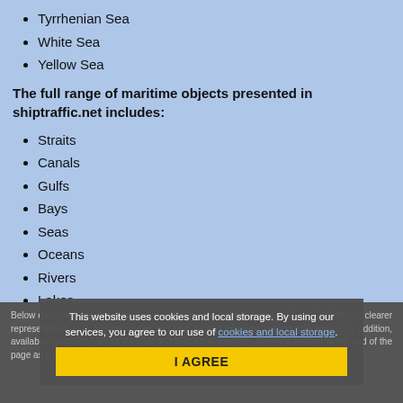Tyrrhenian Sea
White Sea
Yellow Sea
The full range of maritime objects presented in shiptraffic.net includes:
Straits
Canals
Gulfs
Bays
Seas
Oceans
Rivers
Lakes
Sounds
Fjords
Reefs
Lagoons
Capes
Below each map we placed an image of the marine traffic density of SEA OF JAPAN for clearer representation of it. Marine routes and ship names by page around and across. In addition, available information about the past and present of SEA OF JAPAN is located at the end of the page as a compact and searchable information.
This website uses cookies and local storage. By using our services, you agree to our use of cookies and local storage.
I AGREE